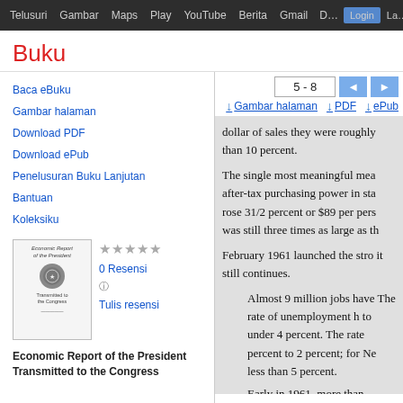Telusuri  Gambar  Maps  Play  YouTube  Berita  Gmail  D… Login La… ⚙
Buku
Baca eBuku
Gambar halaman
Download PDF
Download ePub
Penelusuran Buku Lanjutan
Bantuan
Koleksiku
[Figure (illustration): Book cover thumbnail of 'Economic Report of the President Transmitted to the Congress' with a government seal]
★★★★★
0 Resensi ⓘ
Tulis resensi
Economic Report of the President
Transmitted to the Congress
5 - 8  ◄  ►
Gambar halaman  ↓ PDF  ↓ ePub

dollar of sales they were roughly than 10 percent.

The single most meaningful mea after-tax purchasing power in sta rose 31/2 percent or $89 per pers was still three times as large as th

February 1961 launched the stro it still continues.

  Almost 9 million jobs have The rate of unemployment h to under 4 percent. The rate percent to 2 percent; for Ne less than 5 percent.

  Early in 1961, more than